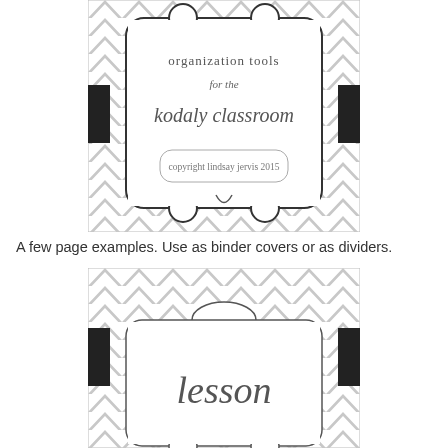[Figure (illustration): Cover page thumbnail with gray chevron/zigzag background pattern, decorative bracket frame in center with text: 'organization tools for the Kodaly classroom', 'copyright Lindsay Jervis 2015'. Black ribbon accents on left and right sides.]
A few page examples. Use as binder covers or as dividers.
[Figure (illustration): Binder divider thumbnail with gray chevron/zigzag background pattern, decorative bracket frame in center with text 'lesson'. Black ribbon accents on left and right sides.]